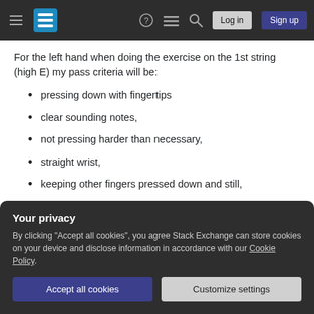Stack Exchange navigation bar with hamburger menu, logo, help, chat, search, Log in, Sign up
For the left hand when doing the exercise on the 1st string (high E) my pass criteria will be:
pressing down with fingertips
clear sounding notes,
not pressing harder than necessary,
straight wrist,
keeping other fingers pressed down and still,
relaxed arms, shoulders and back,
Your privacy
By clicking "Accept all cookies", you agree Stack Exchange can store cookies on your device and disclose information in accordance with our Cookie Policy.
Accept all cookies  Customize settings
trying from the outset to make sure both the G string